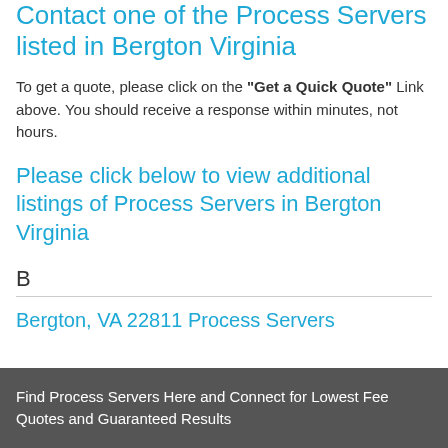Contact one of the Process Servers listed in Bergton Virginia
To get a quote, please click on the "Get a Quick Quote" Link above. You should receive a response within minutes, not hours.
Please click below to view additional listings of Process Servers in Bergton Virginia
B
Bergton, VA 22811 Process Servers
Find Process Servers Here and Connect for Lowest Fee Quotes and Guaranteed Results